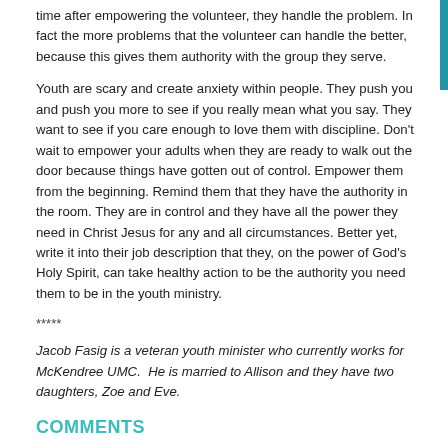time after empowering the volunteer, they handle the problem. In fact the more problems that the volunteer can handle the better, because this gives them authority with the group they serve.
Youth are scary and create anxiety within people. They push you and push you more to see if you really mean what you say. They want to see if you care enough to love them with discipline. Don't wait to empower your adults when they are ready to walk out the door because things have gotten out of control. Empower them from the beginning. Remind them that they have the authority in the room. They are in control and they have all the power they need in Christ Jesus for any and all circumstances. Better yet, write it into their job description that they, on the power of God's Holy Spirit, can take healthy action to be the authority you need them to be in the youth ministry.
*****
Jacob Fasig is a veteran youth minister who currently works for McKendree UMC.  He is married to Allison and they have two daughters, Zoe and Eve.
COMMENTS